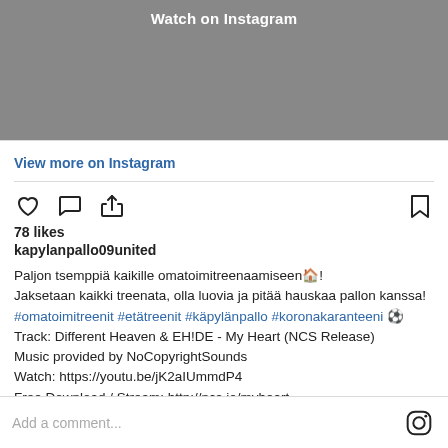Watch on Instagram
View more on Instagram
78 likes
kapylanpallo09united
Paljon tsemppiä kaikille omatoimitreenaamiseen🏠! Jaksetaan kaikki treenata, olla luovia ja pitää hauskaa pallon kanssa! #omatoimitreenit #etätreenit #käpylänpallo #koronakaranteeni ⚽ Track: Different Heaven & EH!DE - My Heart (NCS Release) Music provided by NoCopyrightSounds Watch: https://youtu.be/jK2aIUmmdP4 Free Download / Stream: http://ncs.io/myheart
view all comments
Add a comment...